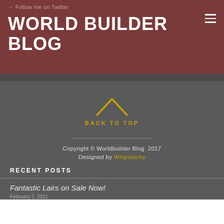→ Follow me on Twitter
WORLD BUILDER BLOG
BACK TO TOP
Copyright © Worldbuilder Blog 2017
Designed by Whipstache
RECENT POSTS
Fantastic Lairs on Sale Now!
February 2, 2021